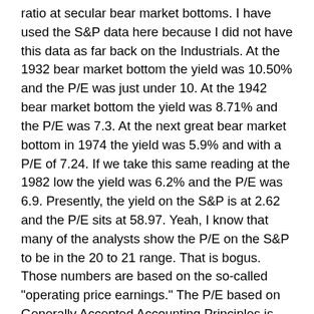ratio at secular bear market bottoms. I have used the S&P data here because I did not have this data as far back on the Industrials. At the 1932 bear market bottom the yield was 10.50% and the P/E was just under 10. At the 1942 bear market bottom the yield was 8.71% and the P/E was 7.3. At the next great bear market bottom in 1974 the yield was 5.9% and with a P/E of 7.24. If we take this same reading at the 1982 low the yield was 6.2% and the P/E was 6.9. Presently, the yield on the S&P is at 2.62 and the P/E sits at 58.97. Yeah, I know that many of the analysts show the P/E on the S&P to be in the 20 to 21 range. That is bogus. Those numbers are based on the so-called "operating price earnings." The P/E based on Generally Accepted Accounting Principles is 58.97 and that is the same measure as has been used throughout history. The so-called operating price earnings is a measure that became popular in the 1990's as we moved into the George Orwellian socialist society of today. In any event, based on the real P/E as is represented by GAAP it is safe